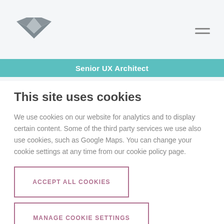Senior UX Architect
This site uses cookies
We use cookies on our website for analytics and to display certain content. Some of the third party services we use also use cookies, such as Google Maps. You can change your cookie settings at any time from our cookie policy page.
ACCEPT ALL COOKIES
MANAGE COOKIE SETTINGS